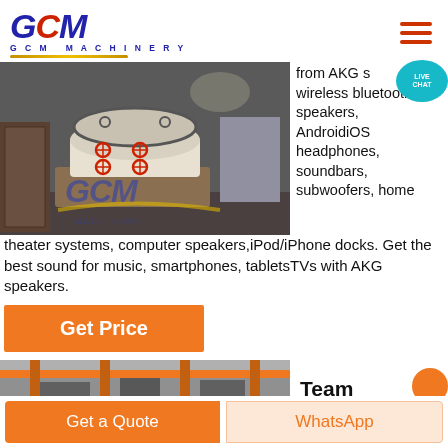[Figure (logo): GCM Machinery logo with blue italic GCM text, red C, yellow underline arc, and 'GCM MACHINERY' subtitle]
[Figure (photo): Industrial cone crusher machine in a factory warehouse setting, with GCM watermark logo overlay]
from AKG speakers wireless bluetooth speakers, AndroidiOS headphones, soundbars, subwoofers, home theater systems, computer speakers,iPod/iPhone docks. Get the best sound for music, smartphones, tabletsTVs with AKG speakers.
[Figure (infographic): LIVE CHAT button/bubble in teal circle]
Get Price
[Figure (photo): Factory interior with orange structural beams]
Team
Get a Quote
WhatsApp